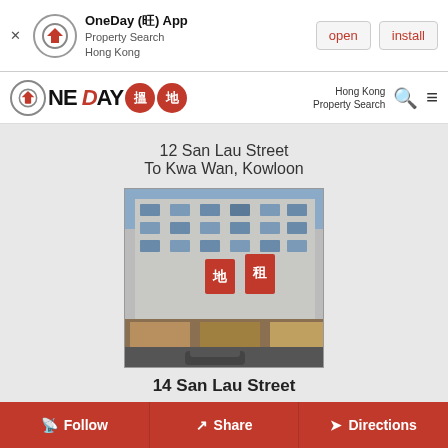OneDay (旺) App — Property Search Hong Kong — open | install
[Figure (logo): OneDay 搵地 logo with house icon, red circle badges with Chinese characters 搵 and 地]
12 San Lau Street
To Kwa Wan, Kowloon
[Figure (photo): Photograph of a multi-storey residential building in Hong Kong with shops at street level, slightly blurred]
14 San Lau Street
14 San Lau Street
To Kwa Wan, Kowloon
[Figure (photo): Partially visible photograph of another building, cropped at bottom of page]
Follow | Share | Directions